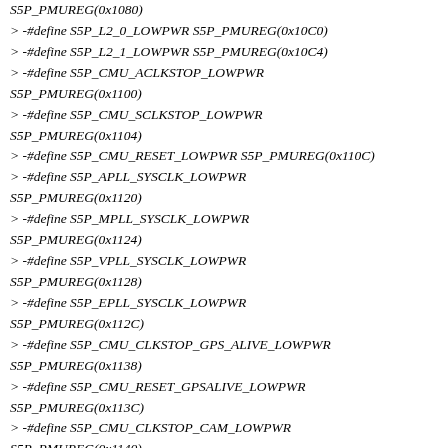S5P_PMUREG(0x1080)
> -#define S5P_L2_0_LOWPWR S5P_PMUREG(0x10C0)
> -#define S5P_L2_1_LOWPWR S5P_PMUREG(0x10C4)
> -#define S5P_CMU_ACLKSTOP_LOWPWR S5P_PMUREG(0x1100)
> -#define S5P_CMU_SCLKSTOP_LOWPWR S5P_PMUREG(0x1104)
> -#define S5P_CMU_RESET_LOWPWR S5P_PMUREG(0x110C)
> -#define S5P_APLL_SYSCLK_LOWPWR S5P_PMUREG(0x1120)
> -#define S5P_MPLL_SYSCLK_LOWPWR S5P_PMUREG(0x1124)
> -#define S5P_VPLL_SYSCLK_LOWPWR S5P_PMUREG(0x1128)
> -#define S5P_EPLL_SYSCLK_LOWPWR S5P_PMUREG(0x112C)
> -#define S5P_CMU_CLKSTOP_GPS_ALIVE_LOWPWR S5P_PMUREG(0x1138)
> -#define S5P_CMU_RESET_GPSALIVE_LOWPWR S5P_PMUREG(0x113C)
> -#define S5P_CMU_CLKSTOP_CAM_LOWPWR S5P_PMUREG(0x1140)
> -#define S5P_CMU_CLKSTOP_TV_LOWPWR S5P_PMUREG(0x1144)
> -#define S5P_CMU_CLKSTOP_MFC_LOWPWR